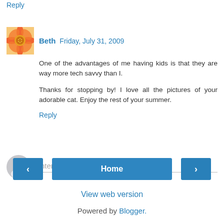Reply
Beth  Friday, July 31, 2009
One of the advantages of me having kids is that they are way more tech savvy than I.

Thanks for stopping by! I love all the pictures of your adorable cat. Enjoy the rest of your summer.
Reply
Enter Comment
Home
View web version
Powered by Blogger.